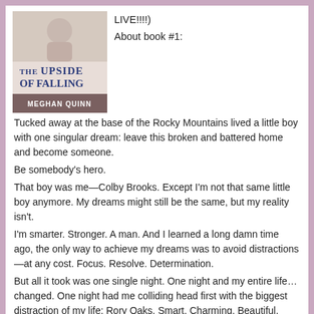[Figure (illustration): Book cover of 'The Upside of Falling' by Meghan Quinn, showing a light-colored cover with blue and dark text.]
LIVE!!!!)
About book #1:
Tucked away at the base of the Rocky Mountains lived a little boy with one singular dream: leave this broken and battered home and become someone.
Be somebody's hero.
That boy was me—Colby Brooks. Except I'm not that same little boy anymore. My dreams might still be the same, but my reality isn't.
I'm smarter. Stronger. A man. And I learned a long damn time ago, the only way to achieve my dreams was to avoid distractions—at any cost. Focus. Resolve. Determination.
But all it took was one single night. One night and my entire life…changed. One night had me colliding head first with the biggest distraction of my life; Rory Oaks. Smart. Charming. Beautiful. Rory changed everything.